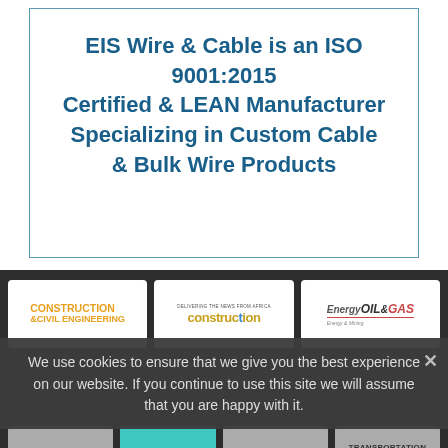[Figure (other): Advertisement box with border: 'EIS Wire & Cable is an ISO 9001:2015 Certified & LEAN Manufacturer Specializing in Custom Cable & Bulk Wire Products' in bold blue text]
[Figure (other): Dark footer area with magazine logo cards: Construction & Civil Engineering, Construction, Energy Oil & Gas logos in white cards on dark background, with cookie consent overlay and bottom row showing Retail Merchandiser, SUPPLY CHAIN WORLD, TRANSPORTATION & LOGISTICS logos]
We use cookies to ensure that we give you the best experience on our website. If you continue to use this site we will assume that you are happy with it.